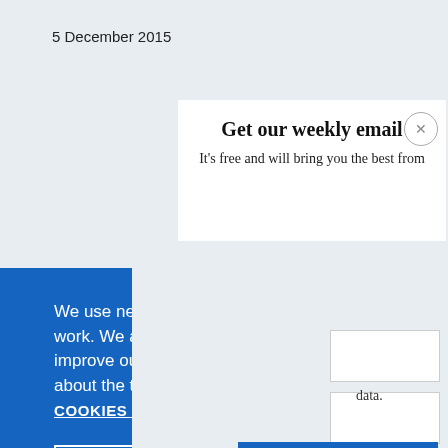5 December 2015
Get our weekly email
It's free and will bring you the best from
We use necessary cookies that allow our site to work. We also set optional cookies that help us improve our website. For more information about the types of cookies we use. READ OUR COOKIES POLICY HERE
COOKIE SETTINGS
ALLOW ALL COOKIES
data.
Flickr/CAF